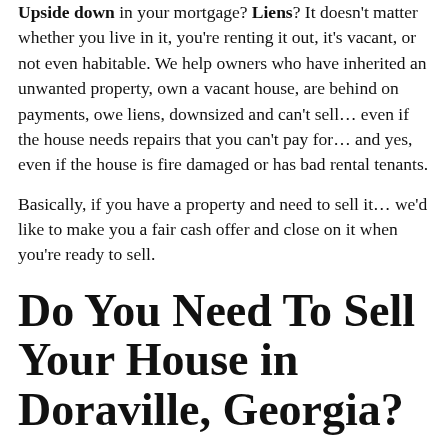Upside down in your mortgage? Liens? It doesn't matter whether you live in it, you're renting it out, it's vacant, or not even habitable. We help owners who have inherited an unwanted property, own a vacant house, are behind on payments, owe liens, downsized and can't sell… even if the house needs repairs that you can't pay for… and yes, even if the house is fire damaged or has bad rental tenants.

Basically, if you have a property and need to sell it… we'd like to make you a fair cash offer and close on it when you're ready to sell.
Do You Need To Sell Your House in Doraville, Georgia?
[Figure (photo): Partial view of a house photo strip at the bottom of the page]